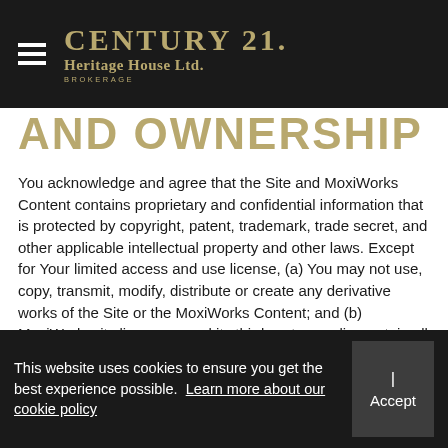CENTURY 21. Heritage House Ltd. BROKERAGE
AND OWNERSHIP
You acknowledge and agree that the Site and MoxiWorks Content contains proprietary and confidential information that is protected by copyright, patent, trademark, trade secret, and other applicable intellectual property and other laws. Except for Your limited access and use license, (a) You may not use, copy, transmit, modify, distribute or create any derivative works of the Site or the MoxiWorks Content; and (b) MoxiWorks, its licensors, and its third-party suppliers retain all right, title and interest in and to the Site and the MoxiWorks Content, as applicable.
13. SUPPORT
This website uses cookies to ensure you get the best experience possible. Learn more about our cookie policy